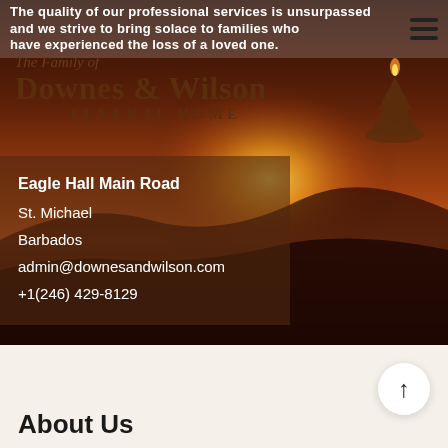[Figure (screenshot): Downes & Wilson Funeral Home website screenshot showing logo, sunset landscape background, contact information overlay, and About Us section]
The quality of our professional services is unsurpassed and we strive to bring solace to families who have experienced the loss of a loved one.
The Family of Downes & Wilson FUNERAL HOME
Eagle Hall Main Road
St. Michael
Barbados
admin@downesandwilson.com
+1(246) 429-8129
About Us